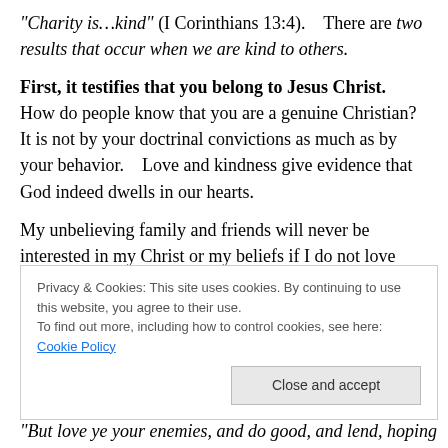“Charity is…kind” (I Corinthians 13:4).    There are two results that occur when we are kind to others.
First, it testifies that you belong to Jesus Christ.   How do people know that you are a genuine Christian?   It is not by your doctrinal convictions as much as by your behavior.    Love and kindness give evidence that God indeed dwells in our hearts.
My unbelieving family and friends will never be interested in my Christ or my beliefs if I do not love them.   Kindness isn’t dependent upon how you are treated, but how you
Privacy & Cookies: This site uses cookies. By continuing to use this website, you agree to their use.
To find out more, including how to control cookies, see here: Cookie Policy
“But love ye your enemies, and do good, and lend, hoping